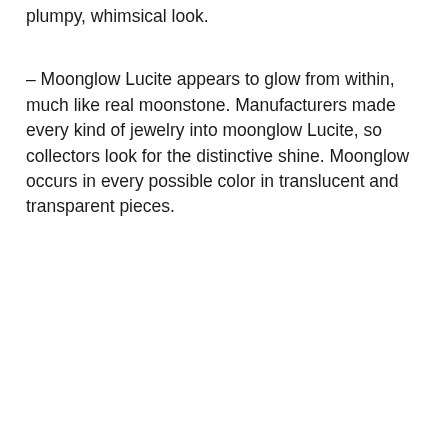plumpy, whimsical look.
– Moonglow Lucite appears to glow from within, much like real moonstone. Manufacturers made every kind of jewelry into moonglow Lucite, so collectors look for the distinctive shine. Moonglow occurs in every possible color in translucent and transparent pieces.